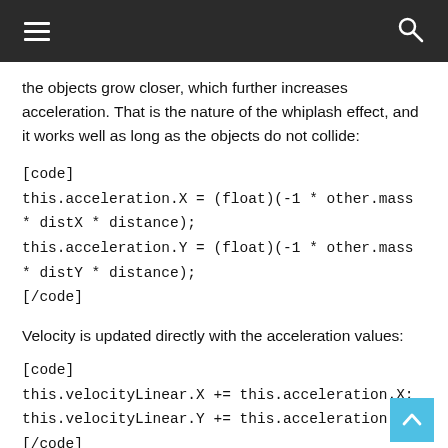the objects grow closer, which further increases acceleration. That is the nature of the whiplash effect, and it works well as long as the objects do not collide:
[code]
this.acceleration.X = (float)(-1 * other.mass * distX * distance);
this.acceleration.Y = (float)(-1 * other.mass * distY * distance);
[/code]
Velocity is updated directly with the acceleration values:
[code]
this.velocityLinear.X += this.acceleration.X;
this.velocityLinear.Y += this.acceleration.Y;
[/code]